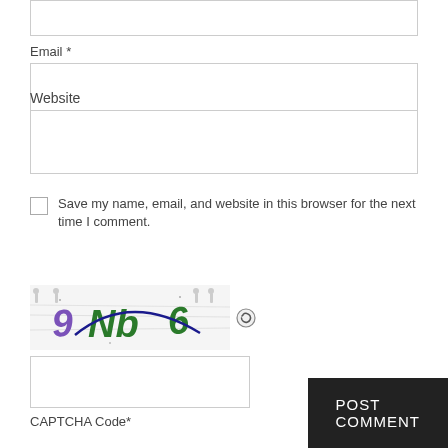Email *
Website
Save my name, email, and website in this browser for the next time I comment.
[Figure (other): CAPTCHA image showing '9 Nb6' with distorted text on a noisy background with a refresh icon]
CAPTCHA Code*
POST COMMENT